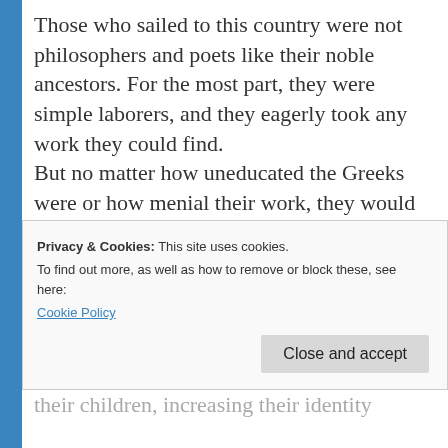Those who sailed to this country were not philosophers and poets like their noble ancestors. For the most part, they were simple laborers, and they eagerly took any work they could find.
But no matter how uneducated the Greeks were or how menial their work, they would typically apply themselves with great determination and embrace any chance to prosper in life and educate their children. They offered them a brighter future, fulfilling the solemn duty that every generation should
Privacy & Cookies: This site uses cookies.
To find out more, as well as how to remove or block these, see here:
Cookie Policy
their children, increasing their identity